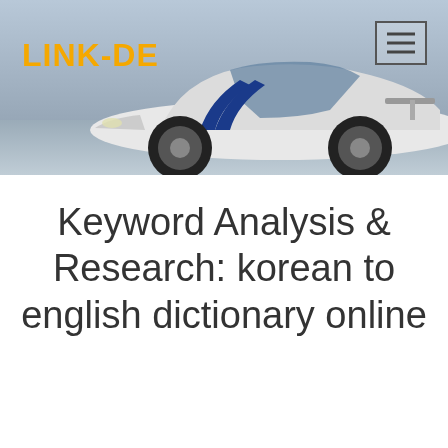[Figure (photo): Website header banner showing a white sports car with blue racing stripes on a grey background, with the orange LINK-DE logo on the left and a hamburger menu button on the right]
Keyword Analysis & Research: korean to english dictionary online